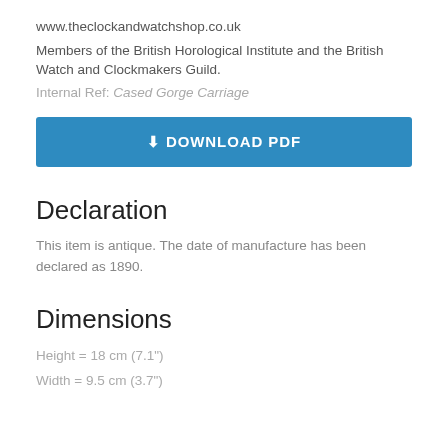www.theclockandwatchshop.co.uk
Members of the British Horological Institute and the British Watch and Clockmakers Guild.
Internal Ref: Cased Gorge Carriage
[Figure (other): Blue download PDF button with download icon]
Declaration
This item is antique. The date of manufacture has been declared as 1890.
Dimensions
Height = 18 cm (7.1")
Width = 9.5 cm (3.7")